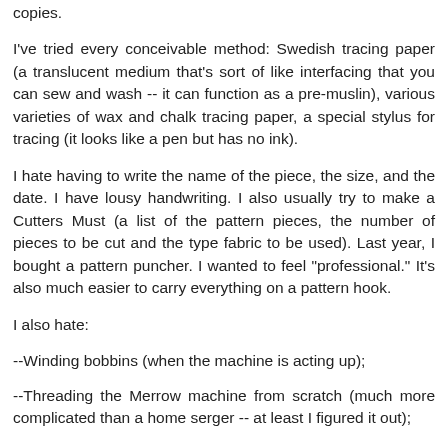copies.
I've tried every conceivable method: Swedish tracing paper (a translucent medium that's sort of like interfacing that you can sew and wash -- it can function as a pre-muslin), various varieties of wax and chalk tracing paper, a special stylus for tracing (it looks like a pen but has no ink).
I hate having to write the name of the piece, the size, and the date. I have lousy handwriting. I also usually try to make a Cutters Must (a list of the pattern pieces, the number of pieces to be cut and the type fabric to be used). Last year, I bought a pattern puncher. I wanted to feel "professional." It's also much easier to carry everything on a pattern hook.
I also hate:
--Winding bobbins (when the machine is acting up);
--Threading the Merrow machine from scratch (much more complicated than a home serger -- at least I figured it out);